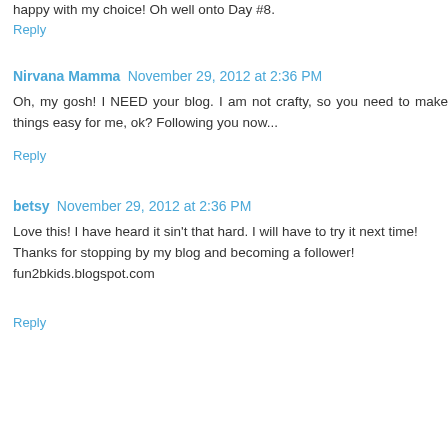happy with my choice! Oh well onto Day #8.
Reply
Nirvana Mamma  November 29, 2012 at 2:36 PM
Oh, my gosh! I NEED your blog. I am not crafty, so you need to make things easy for me, ok? Following you now...
Reply
betsy  November 29, 2012 at 2:36 PM
Love this! I have heard it sin't that hard. I will have to try it next time!
Thanks for stopping by my blog and becoming a follower!
fun2bkids.blogspot.com
Reply